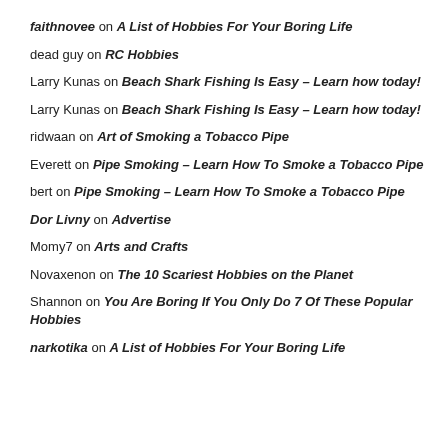faithnovee on A List of Hobbies For Your Boring Life
dead guy on RC Hobbies
Larry Kunas on Beach Shark Fishing Is Easy – Learn how today!
Larry Kunas on Beach Shark Fishing Is Easy – Learn how today!
ridwaan on Art of Smoking a Tobacco Pipe
Everett on Pipe Smoking – Learn How To Smoke a Tobacco Pipe
bert on Pipe Smoking – Learn How To Smoke a Tobacco Pipe
Dor Livny on Advertise
Momy7 on Arts and Crafts
Novaxenon on The 10 Scariest Hobbies on the Planet
Shannon on You Are Boring If You Only Do 7 Of These Popular Hobbies
narkotika on A List of Hobbies For Your Boring Life